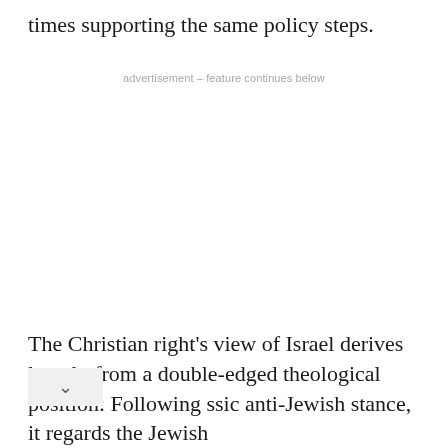times supporting the same policy steps.
advertisement – feature continues below
The Christian right's view of Israel derives largely from a double-edged theological position: Following ssic anti-Jewish stance, it regards the Jewish